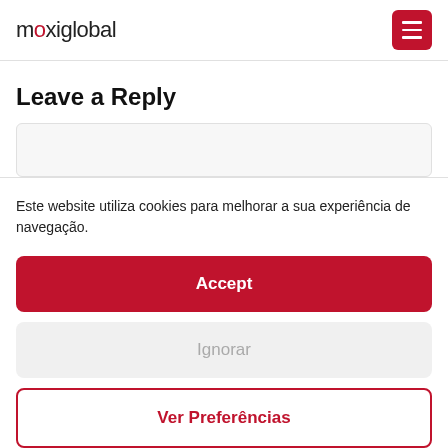maxiglobal
Leave a Reply
Este website utiliza cookies para melhorar a sua experiência de navegação.
Accept
Ignorar
Ver Preferências
Cookies Policy